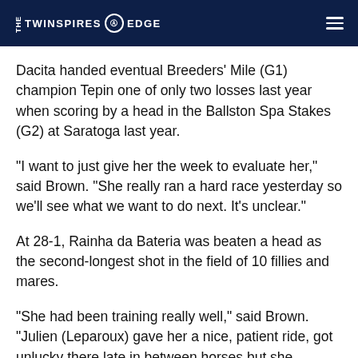THE TWINSPIRES EDGE
Dacita handed eventual Breeders' Mile (G1) champion Tepin one of only two losses last year when scoring by a head in the Ballston Spa Stakes (G2) at Saratoga last year.
"I want to just give her the week to evaluate her," said Brown. "She really ran a hard race yesterday so we'll see what we want to do next. It's unclear."
At 28-1, Rainha da Bateria was beaten a head as the second-longest shot in the field of 10 fillies and mares.
"She had been training really well," said Brown. "Julien (Leparoux) gave her a nice, patient ride, got unlucky there late in between horses but she